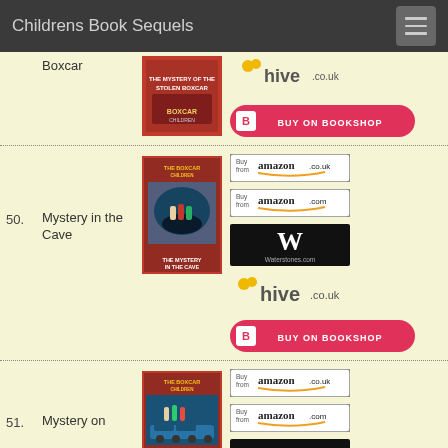Childrens Book Sequels
Boxcar
[Figure (photo): Book cover: The Mystery of the Stolen Boxcar - Boxcar Children series]
[Figure (logo): hive.co.uk logo]
[Figure (logo): BUY ON BOOKSHOP button]
50. Mystery in the Cave
[Figure (logo): Buy from amazon.co.uk button]
[Figure (logo): Buy from amazon.com button]
[Figure (photo): Book cover: The Mystery in the Cave - Boxcar Children series]
[Figure (logo): Waterstones.com logo]
[Figure (logo): hive.co.uk logo]
[Figure (logo): BUY ON BOOKSHOP button]
51. Mystery on
[Figure (logo): Buy from amazon.co.uk button]
[Figure (logo): Buy from amazon.com button]
[Figure (photo): Book cover: Mystery on the Train - Boxcar Children series]
[Figure (logo): Waterstones.com logo partial]